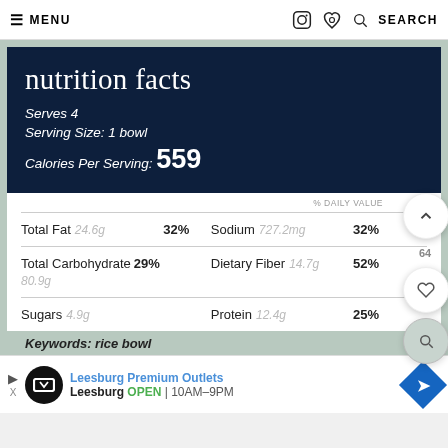≡ MENU   [instagram] [pinterest] 🔍 SEARCH
nutrition facts
Serves 4
Serving Size: 1 bowl
Calories Per Serving: 559
| Nutrient | Amount | % Daily Value | Nutrient | Amount | % Daily Value |
| --- | --- | --- | --- | --- | --- |
| Total Fat | 24.6g | 32% | Sodium | 727.2mg | 32% |
| Total Carbohydrate 80.9g |  | 29% | Dietary Fiber | 14.7g | 52% |
| Sugars | 4.9g |  | Protein | 12.4g | 25% |
Keywords: rice bowl